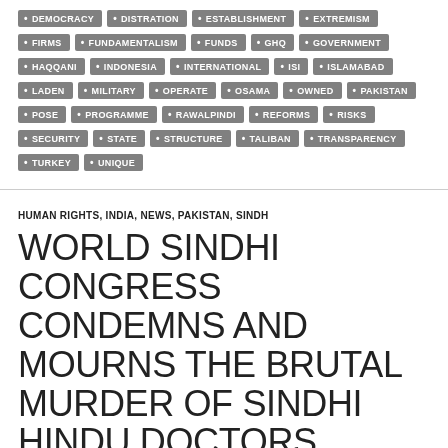DEMOCRACY
DISTRATION
ESTABLISHMENT
EXTREMISM
FIRMS
FUNDAMENTALISM
FUNDS
GHQ
GOVERNMENT
HAQQANI
INDONESIA
INTERNATIONAL
ISI
ISLAMABAD
LADEN
MILITARY
OPERATE
OSAMA
OWNED
PAKISTAN
POSE
PROGRAMME
RAWALPINDI
REFORMS
RISKS
SECURITY
STATE
STRUCTURE
TALIBAN
TRANSPARENCY
TURKEY
UNIQUE
HUMAN RIGHTS, INDIA, NEWS, PAKISTAN, SINDH
WORLD SINDHI CONGRESS CONDEMNS AND MOURNS THE BRUTAL MURDER OF SINDHI HINDU DOCTORS
10/11/2011   LEAVE A COMMENT